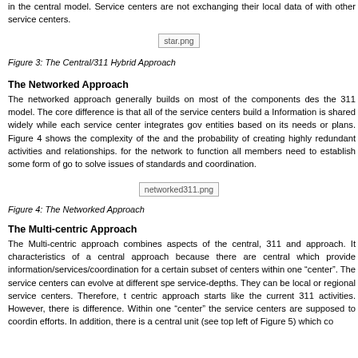in the central model. Service centers are not exchanging their local data with other service centers.
[Figure (other): Placeholder image: star.png — diagram of the Central/311 Hybrid Approach]
Figure 3: The Central/311 Hybrid Approach
The Networked Approach
The networked approach generally builds on most of the components described in the 311 model. The core difference is that all of the service centers build a network. Information is shared widely while each service center integrates government entities based on its needs or plans. Figure 4 shows the complexity of the model and the probability of creating highly redundant activities and relationships. However, for the network to function all members need to establish some form of governance to solve issues of standards and coordination.
[Figure (other): Placeholder image: networked311.png — diagram of the Networked Approach]
Figure 4: The Networked Approach
The Multi-centric Approach
The Multi-centric approach combines aspects of the central, 311 and networked approach. It characteristics of a central approach because there are central hubs which provide information/services/coordination for a certain subset of service centers within one “center”. The service centers can evolve at different speeds and service-depths. They can be local or regional service centers. Therefore, the multi-centric approach starts like the current 311 activities. However, there is one key difference. Within one “center” the service centers are supposed to coordinate their efforts. In addition, there is a central unit (see top left of Figure 5) which coordinates